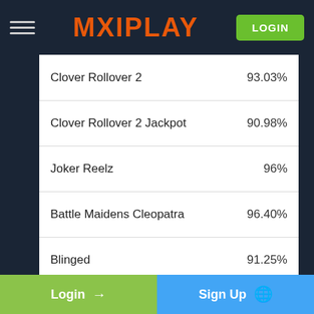MAXIPLAY — LOGIN
| Game | RTP |
| --- | --- |
| Clover Rollover 2 | 93.03% |
| Clover Rollover 2 Jackpot | 90.98% |
| Joker Reelz | 96% |
| Battle Maidens Cleopatra | 96.40% |
| Blinged | 91.25% |
| A Christmas Carol | 94.58% |
Login → Sign Up